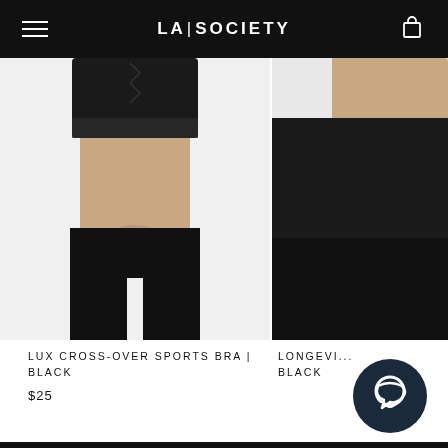LA|SOCIETY
[Figure (photo): Woman wearing black lux cross-over sports bra and black leggings, showing midriff, hands clasped at waist, white background]
LUX CROSS-OVER SPORTS BRA | BLACK
$25
[Figure (photo): Partially visible second product photo - model wearing black athletic wear, only right portion visible]
LONGEVI... BLACK